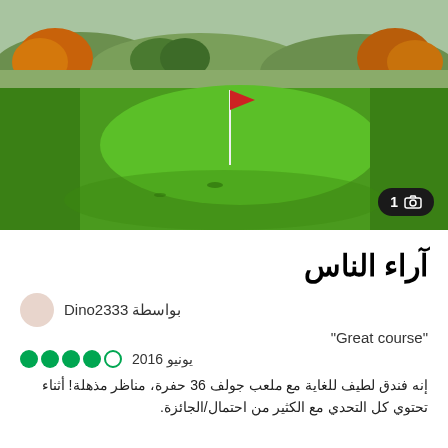[Figure (photo): Golf course with green fairway, a white flag on the putting green, and autumn-colored trees and hills in the background]
آراء الناس
بواسطة Dino2333
"Great course"
يونيو 2016 — 4 out of 5 circles rating
إنه فندق لطيف للغاية مع ملعب جولف 36 حفرة، مناظر مذهلة! أثناء تحتوي كل التحدي مع الكثير من احتمال/الجائزة.